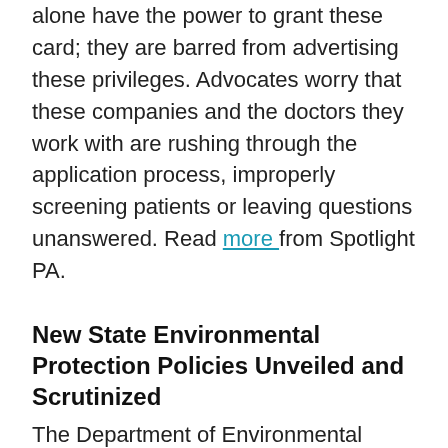alone have the power to grant these card; they are barred from advertising these privileges. Advocates worry that these companies and the doctors they work with are rushing through the application process, improperly screening patients or leaving questions unanswered. Read more from Spotlight PA.
New State Environmental Protection Policies Unveiled and Scrutinized
The Department of Environmental Protection is revamping its operating policies by requiring environmental justice to be considered when adopting programs or policies. For some, elements of this may mean additional hearings focused on environmental justice before approval. However, the draft policy is being criticized by some who say that it amounts to lip service while others say it oversteps the DEP’s mandate. The Post-Gazette has more .